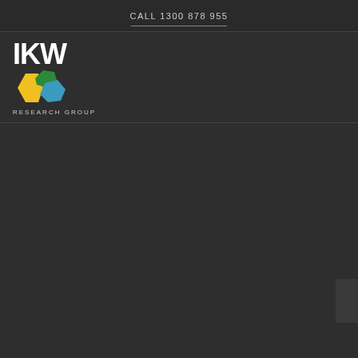CALL 1300 878 955
[Figure (logo): IKW Research Group logo with geometric colored hexagonal shapes in yellow, green, and blue next to bold white letters IKW, with RESEARCH GROUP text below]